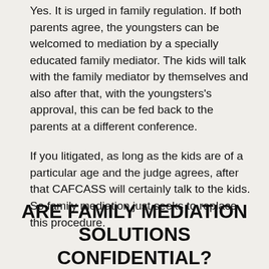Yes. It is urged in family regulation. If both parents agree, the youngsters can be welcomed to mediation by a specially educated family mediator. The kids will talk with the family mediator by themselves and also after that, with the youngsters's approval, this can be fed back to the parents at a different conference.
If you litigated, as long as the kids are of a particular age and the judge agrees, after that CAFCASS will certainly talk to the kids. So family mediation just seeks to replace this procedure.
ARE FAMILY MEDIATION SOLUTIONS CONFIDENTIAL?